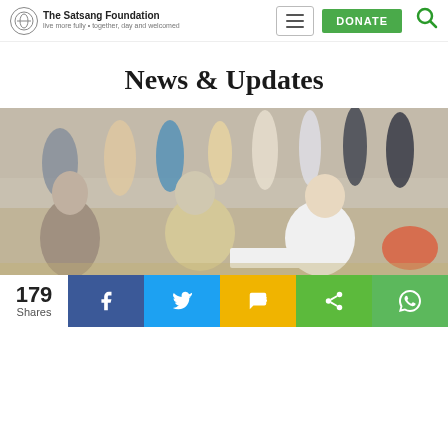The Satsang Foundation — navigation header with logo, hamburger menu, DONATE button, and search icon
News & Updates
[Figure (photo): Outdoor gathering scene with several people bending over and working on something on the ground; crowd in background including people in Indian attire]
179 Shares — Facebook, Twitter, SMS, Share, WhatsApp social sharing buttons